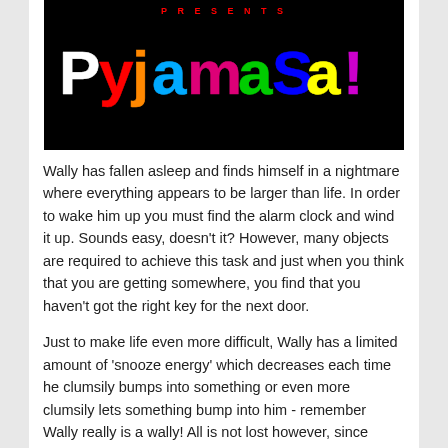[Figure (screenshot): Black background game title screen showing 'PRESENTS' in red letters at top, followed by the colorful pixel-art logo text 'Pyjamasama!' with each letter in different bright colors (white, red, orange, blue, green, yellow, cyan, magenta) on a black background.]
Wally has fallen asleep and finds himself in a nightmare where everything appears to be larger than life. In order to wake him up you must find the alarm clock and wind it up. Sounds easy, doesn't it? However, many objects are required to achieve this task and just when you think that you are getting somewhere, you find that you haven't got the right key for the next door.
Just to make life even more difficult, Wally has a limited amount of 'snooze energy' which decreases each time he clumsily bumps into something or even more clumsily lets something bump into him - remember Wally really is a wally! All is not lost however, since Wally's energy can be replenished by consuming any of the items of food